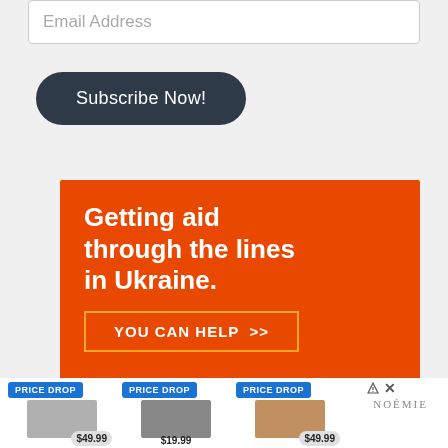Email Address
Subscribe Now!
[Figure (infographic): Orange advertisement banner reading 'Getting aid through the lines in Ukraine.' with a 'YOU CAN HELP >>' button outlined in orange]
[Figure (infographic): Product advertisement strip showing three items with 'PRICE DROP' badges and prices $49.99, $19.99, $49.99, with NOÉMIE brand logo]